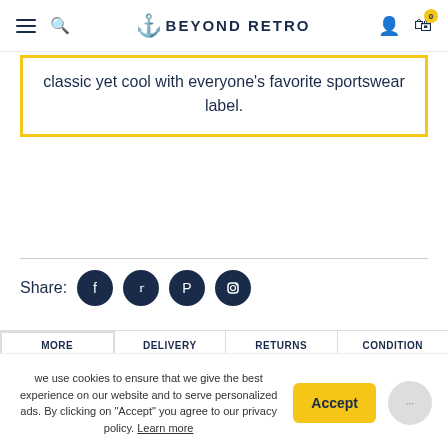Beyond Retro
classic yet cool with everyone's favorite sportswear label.
[Figure (infographic): Share row with Facebook, Twitter, Pinterest, and Instagram social media icons]
MORE | DELIVERY | RETURNS | CONDITION
we use cookies to ensure that we give the best experience on our website and to serve personalized ads. By clicking on "Accept" you agree to our privacy policy. Learn more